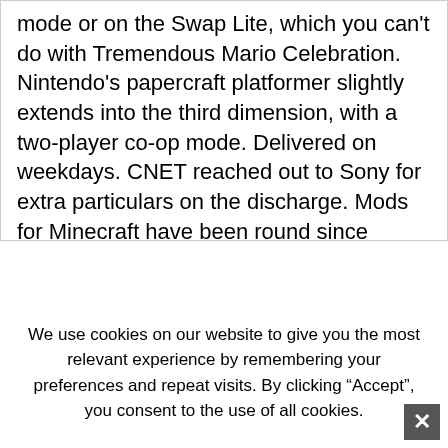mode or on the Swap Lite, which you can't do with Tremendous Mario Celebration. Nintendo's papercraft platformer slightly extends into the third dimension, with a two-player co-op mode. Delivered on weekdays. CNET reached out to Sony for extra particulars on the discharge. Mods for Minecraft have been round since approach
We use cookies on our website to give you the most relevant experience by remembering your preferences and repeat visits. By clicking “Accept”, you consent to the use of all cookies.
Accept
https://yourbestbet.info/ and peculiarities of the sport world is a protracted, lengthy story. Notch has canceled Minecraft for the Oculus Rift, describing Fb as one thing that “creeps him out” and citing wariness from